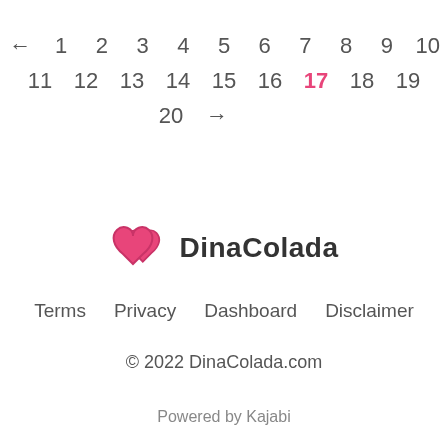← 1 2 3 4 5 6 7 8 9 10 11 12 13 14 15 16 17 18 19 20 →
[Figure (logo): DinaColada logo with two overlapping pink hearts and the text DinaColada]
Terms  Privacy  Dashboard  Disclaimer
© 2022 DinaColada.com
Powered by Kajabi